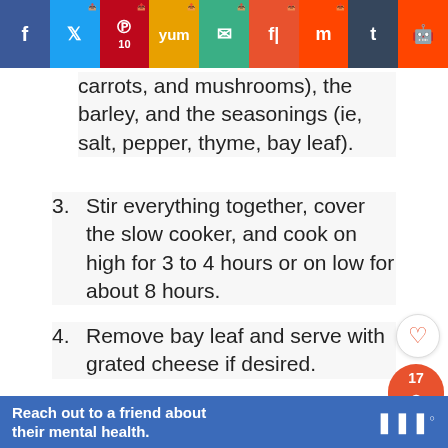[Figure (screenshot): Social media sharing bar with buttons for Facebook, Twitter, Pinterest (10), Yummly, Email, Flipboard, Mix, Tumblr, Reddit]
carrots, and mushrooms), the barley, and the seasonings (ie, salt, pepper, thyme, bay leaf).
3. Stir everything together, cover the slow cooker, and cook on high for 3 to 4 hours or on low for about 8 hours.
4. Remove bay leaf and serve with grated cheese if desired.
NOTES
This recipe calls for pearled barley (also called hulled or pearl barley); if you use pot barley, which is the whole grain form, add
[Figure (screenshot): What's Next promotional box: easy and hearty beef...]
Reach out to a friend about their mental health.